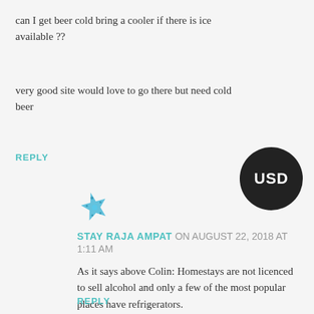can I get beer cold bring a cooler if there is ice available ??
very good site would love to go there but need cold beer
REPLY
[Figure (illustration): Blue starfish icon/avatar]
STAY RAJA AMPAT ON AUGUST 22, 2018 AT 1:11 AM
As it says above Colin: Homestays are not licenced to sell alcohol and only a few of the most popular places have refrigerators.
REPLY